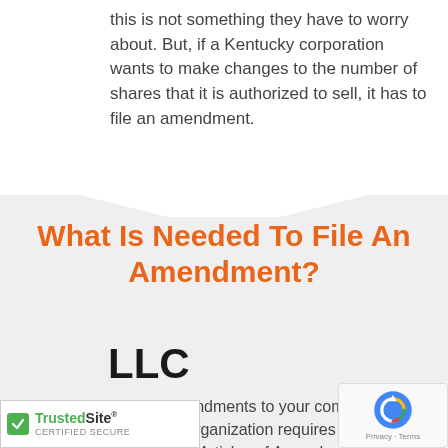this is not something they have to worry about. But, if a Kentucky corporation wants to make changes to the number of shares that it is authorized to sell, it has to file an amendment.
What Is Needed To File An Amendment?
LLC
Making amendments to your company's Articles of Organization requires you to submit a completed Articles of Amendment to the Secretary of State. You can download the form from the website of